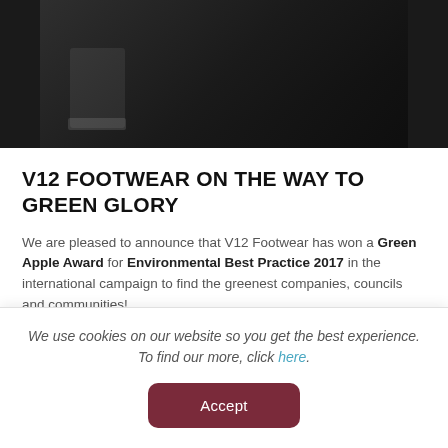[Figure (photo): Black and white photo showing footwear/shoe product on a surface, partially visible from top]
V12 FOOTWEAR ON THE WAY TO GREEN GLORY
We are pleased to announce that V12 Footwear has won a Green Apple Award for Environmental Best Practice 2017 in the international campaign to find the greenest companies, councils and communities!
Based on the work we have done developing the MukGuard reusable overshoe, we've received the exciting news that we have been nominated as a top 3 finalist. It is yet to be
We use cookies on our website so you get the best experience. To find our more, click here.